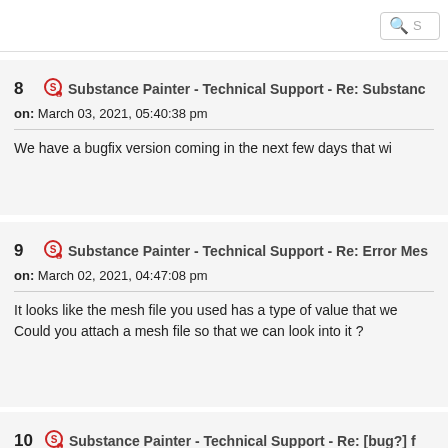Search
8  Substance Painter - Technical Support - Re: Substance
on: March 03, 2021, 05:40:38 pm
We have a bugfix version coming in the next few days that wi
9  Substance Painter - Technical Support - Re: Error Mes
on: March 02, 2021, 04:47:08 pm
It looks like the mesh file you used has a type of value that we
Could you attach a mesh file so that we can look into it ?
10  Substance Painter - Technical Support - Re: [bug?] f